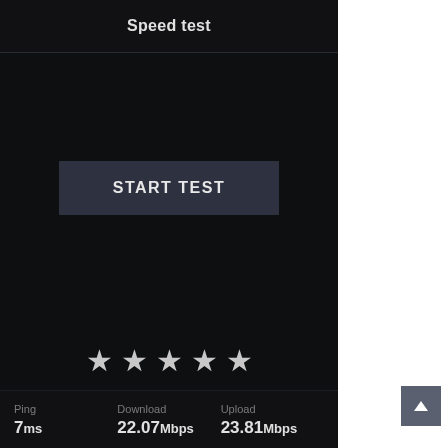Speed test
[Figure (screenshot): START TEST button on dark background, center of speed test app]
[Figure (other): Five star rating row (all stars filled/light gray), with label 'Rate your ISP: Vox Telecom']
Rate your ISP: Vox Telecom
Ping
7ms
Download
22.07Mbps
Upload
23.81Mbps